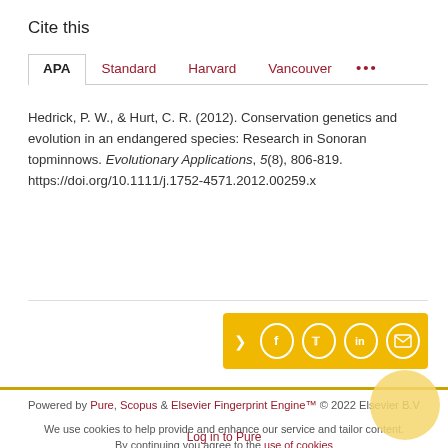Cite this
APA  Standard  Harvard  Vancouver  ...
Hedrick, P. W., & Hurt, C. R. (2012). Conservation genetics and evolution in an endangered species: Research in Sonoran topminnows. Evolutionary Applications, 5(8), 806-819. https://doi.org/10.1111/j.1752-4571.2012.00259.x
[Figure (other): Share bar with social media icons: share arrow, Facebook, Twitter, LinkedIn, Email on gold background]
Powered by Pure, Scopus & Elsevier Fingerprint Engine™ © 2022 Elsevier B.V
We use cookies to help provide and enhance our service and tailor content. By continuing you agree to the use of cookies
Log in to Pure